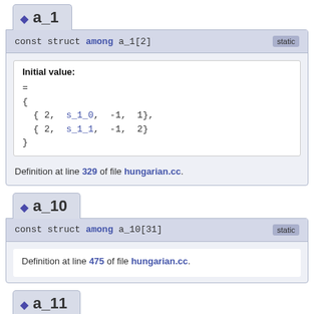◆ a_1
const struct among a_1[2]   static
Initial value:
=
{
  { 2, s_1_0, -1, 1},
  { 2, s_1_1, -1, 2}
}
Definition at line 329 of file hungarian.cc.
◆ a_10
const struct among a_10[31]   static
Definition at line 475 of file hungarian.cc.
◆ a_11